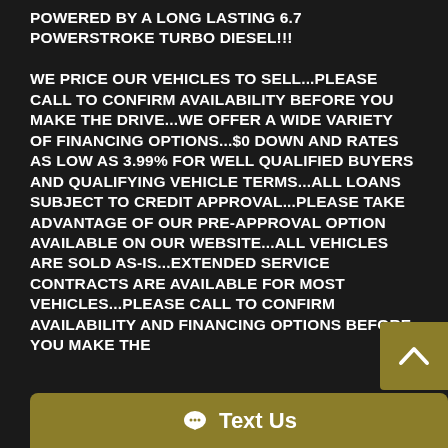POWERED BY A LONG LASTING 6.7 POWERSTROKE TURBO DIESEL!!! WE PRICE OUR VEHICLES TO SELL...PLEASE CALL TO CONFIRM AVAILABILITY BEFORE YOU MAKE THE DRIVE...WE OFFER A WIDE VARIETY OF FINANCING OPTIONS...$0 DOWN AND RATES AS LOW AS 3.99% FOR WELL QUALIFIED BUYERS AND QUALIFYING VEHICLE TERMS...ALL LOANS SUBJECT TO CREDIT APPROVAL...PLEASE TAKE ADVANTAGE OF OUR PRE-APPROVAL OPTION AVAILABLE ON OUR WEBSITE...ALL VEHICLES ARE SOLD AS-IS...EXTENDED SERVICE CONTRACTS ARE AVAILABLE FOR MOST VEHICLES...PLEASE CALL TO CONFIRM AVAILABILITY AND FINANCING OPTIONS BEFORE YOU MAKE THE
Text Us